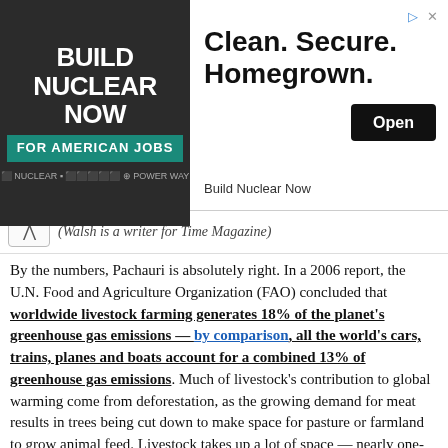[Figure (screenshot): Advertisement banner for 'Build Nuclear Now' — left side has dark background with large white bold text 'BUILD NUCLEAR NOW' and teal bar 'FOR AMERICAN JOBS'; right side has white background with text 'Clean. Secure. Homegrown.' and an 'Open' button, with 'Build Nuclear Now' brand name below.]
(Walsh is a writer for Time Magazine)
By the numbers, Pachauri is absolutely right. In a 2006 report, the U.N. Food and Agriculture Organization (FAO) concluded that worldwide livestock farming generates 18% of the planet's greenhouse gas emissions — by comparison, all the world's cars, trains, planes and boats account for a combined 13% of greenhouse gas emissions. Much of livestock's contribution to global warming come from deforestation, as the growing demand for meat results in trees being cut down to make space for pasture or farmland to grow animal feed. Livestock takes up a lot of space — nearly one-third of the earth's entire landmass. In Latin America, the FAO estimates that some 70% of former forest cover has been converted for grazing. Lost forest cover heats the planet, because trees absorb CO2 while they're alive — and when they're burned or cut down, the greenhouse gas is released back into the atmosphere. Then there's manure — all that animal waste generates nitrous oxide, a greenhouse gas that has 296 times the warming effect of CO2. And of course, there is cow flatulence: as cattle digest grass or grain, they produce methane